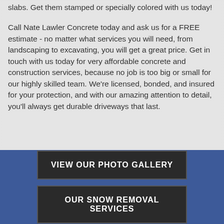slabs. Get them stamped or specially colored with us today!
Call Nate Lawler Concrete today and ask us for a FREE estimate - no matter what services you will need, from landscaping to excavating, you will get a great price. Get in touch with us today for very affordable concrete and construction services, because no job is too big or small for our highly skilled team. We're licensed, bonded, and insured for your protection, and with our amazing attention to detail, you'll always get durable driveways that last.
VIEW OUR PHOTO GALLERY
OUR SNOW REMOVAL SERVICES